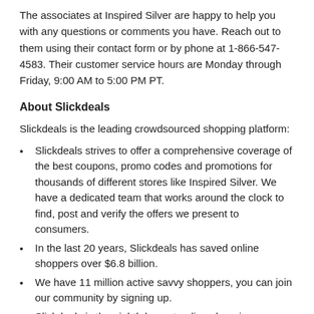The associates at Inspired Silver are happy to help you with any questions or comments you have. Reach out to them using their contact form or by phone at 1-866-547-4583. Their customer service hours are Monday through Friday, 9:00 AM to 5:00 PM PT.
About Slickdeals
Slickdeals is the leading crowdsourced shopping platform:
Slickdeals strives to offer a comprehensive coverage of the best coupons, promo codes and promotions for thousands of different stores like Inspired Silver. We have a dedicated team that works around the clock to find, post and verify the offers we present to consumers.
In the last 20 years, Slickdeals has saved online shoppers over $6.8 billion.
We have 11 million active savvy shoppers, you can join our community by signing up.
Slickdeals is the eighth largest online shopping destination in the U.S
Download our Slickdeals chrome extension, get the best prices and auto apply coupons.
Get great savings and deals at your fingertips by